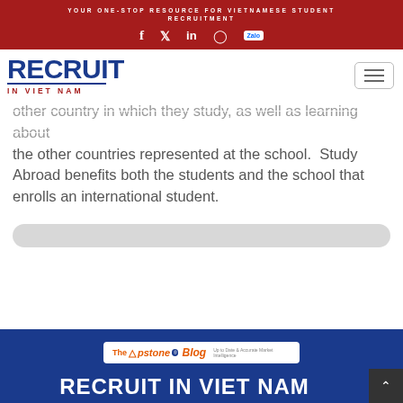YOUR ONE-STOP RESOURCE FOR VIETNAMESE STUDENT RECRUITMENT
[Figure (logo): Social media icons: Facebook, Twitter, LinkedIn, Instagram, Zalo on red background]
[Figure (logo): Recruit In Viet Nam logo in blue and red with hamburger menu button]
other country in which they study, as well as learning about the other countries represented at the school.  Study Abroad benefits both the students and the school that enrolls an international student.
[Figure (other): Grey rounded search bar]
[Figure (logo): The Capstone Blog - Up to Date & Accurate Market Intelligence advertisement banner]
RECRUIT IN VIET NAM (partially visible at bottom)